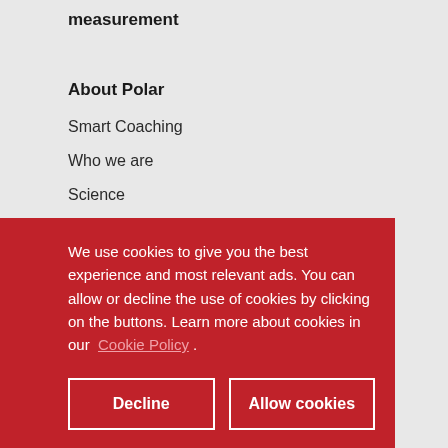measurement
About Polar
Smart Coaching
Who we are
Science
Sustainability
Events
We use cookies to give you the best experience and most relevant ads. You can allow or decline the use of cookies by clicking on the buttons. Learn more about cookies in our Cookie Policy .
Decline
Allow cookies
Webstore
Return policy